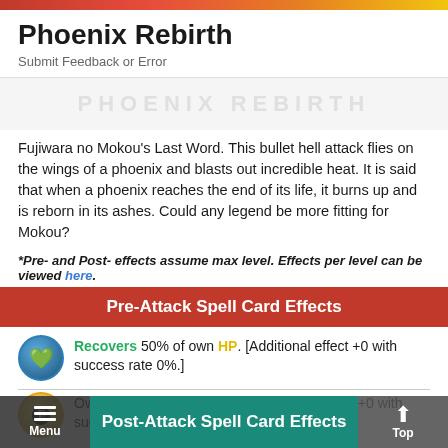Phoenix Rebirth
Submit Feedback or Error
Fujiwara no Mokou's Last Word. This bullet hell attack flies on the wings of a phoenix and blasts out incredible heat. It is said that when a phoenix reaches the end of its life, it burns up and is reborn in its ashes. Could any legend be more fitting for Mokou?
*Pre- and Post- effects assume max level. Effects per level can be viewed here.
Pre-Attack Spell Card Effects
Recovers 50% of own HP. [Additional effect +0 with success rate 0%.]
Own Spirit Power 0.75 UP. [Additional effect +0 with success rate 0%.]
Post-Attack Spell Card Effects